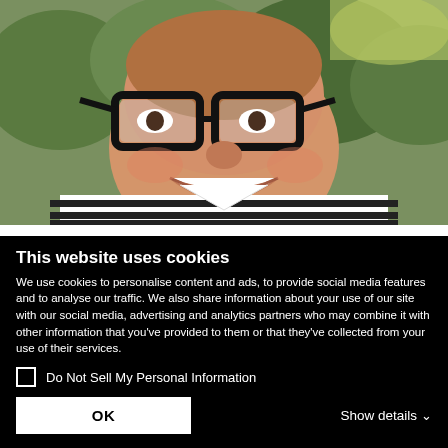[Figure (photo): Portrait photo of Craig Inglis, a smiling man with glasses wearing a black and white striped shirt, with green trees in the background]
Craig Inglis
Chairman of The Marketing Society and
This website uses cookies
We use cookies to personalise content and ads, to provide social media features and to analyse our traffic. We also share information about your use of our site with our social media, advertising and analytics partners who may combine it with other information that you've provided to them or that they've collected from your use of their services.
Do Not Sell My Personal Information
OK
Show details